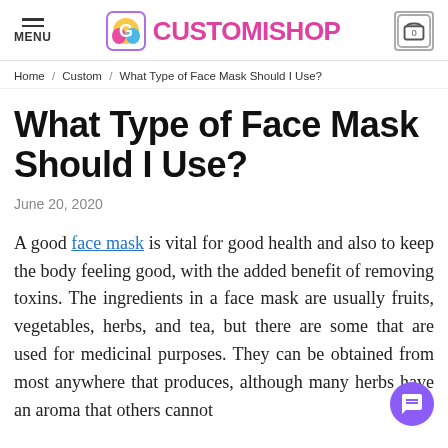MENU | CUSTOMISHOP | 0
Home / Custom / What Type of Face Mask Should I Use?
What Type of Face Mask Should I Use?
June 20, 2020
A good face mask is vital for good health and also to keep the body feeling good, with the added benefit of removing toxins. The ingredients in a face mask are usually fruits, vegetables, herbs, and tea, but there are some that are used for medicinal purposes. They can be obtained from most anywhere that produces, although many herbs have an aroma that others cannot